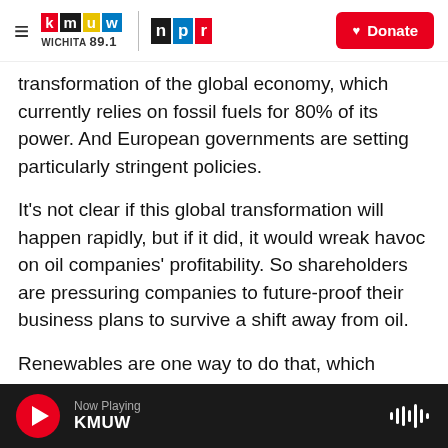KMUW Wichita 89.1 / NPR | Donate
transformation of the global economy, which currently relies on fossil fuels for 80% of its power. And European governments are setting particularly stringent policies.
It's not clear if this global transformation will happen rapidly, but if it did, it would wreak havoc on oil companies' profitability. So shareholders are pressuring companies to future-proof their business plans to survive a shift away from oil.
Renewables are one way to do that, which explains the eye-popping targets a few European companies are setting.
Now Playing KMUW